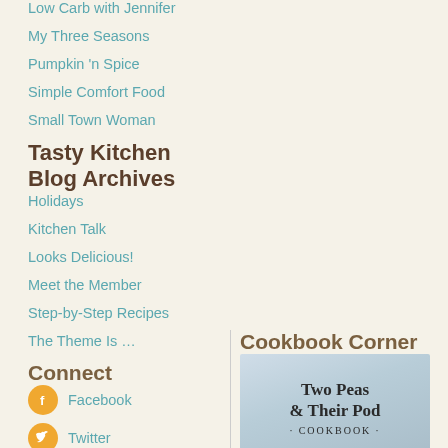Low Carb with Jennifer
My Three Seasons
Pumpkin 'n Spice
Simple Comfort Food
Small Town Woman
Tasty Kitchen Blog Archives
Holidays
Kitchen Talk
Looks Delicious!
Meet the Member
Step-by-Step Recipes
The Theme Is …
Connect
Facebook
Twitter
Cookbook Corner
[Figure (illustration): Two Peas & Their Pod Cookbook cover]